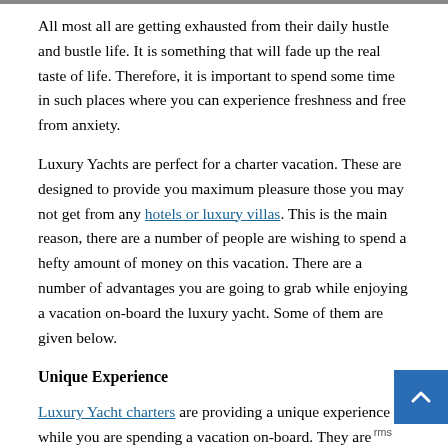All most all are getting exhausted from their daily hustle and bustle life. It is something that will fade up the real taste of life. Therefore, it is important to spend some time in such places where you can experience freshness and free from anxiety.
Luxury Yachts are perfect for a charter vacation. These are designed to provide you maximum pleasure those you may not get from any hotels or luxury villas. This is the main reason, there are a number of people are wishing to spend a hefty amount of money on this vacation. There are a number of advantages you are going to grab while enjoying a vacation on-board the luxury yacht. Some of them are given below.
Unique Experience
Luxury Yacht charters are providing a unique experience while you are spending a vacation on-board. They are designed to provide you maximum pleasure and it will always come with satisfaction that will make a great complement to the entire life. These yachts are studded with world-class amenities, mouth-watering food, nightclub, preferred drinks and many more to enjoy. The same things you can't get from five seven-star hotels. The most important thing is that you are getting features while floating on the blue waters of the ocean. It is one of biggest things that will meet your entire desire. After spending quality